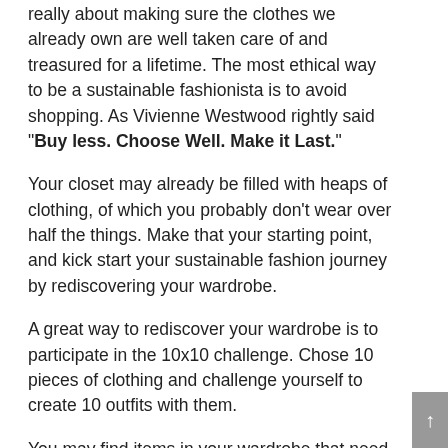really about making sure the clothes we already own are well taken care of and treasured for a lifetime. The most ethical way to be a sustainable fashionista is to avoid shopping. As Vivienne Westwood rightly said "Buy less. Choose Well. Make it Last."
Your closet may already be filled with heaps of clothing, of which you probably don't wear over half the things. Make that your starting point, and kick start your sustainable fashion journey by rediscovering your wardrobe.
A great way to rediscover your wardrobe is to participate in the 10x10 challenge. Chose 10 pieces of clothing and challenge yourself to create 10 outfits with them.
You may find items in your wardrobe that need fixing. Choose to mend instead of toss the items that are torn, have a broken zip or don't fit right. It used to be the norm. However, now its way too convenient to toss than repair considering how easy and affordable it is to replace an item these days. No more.....